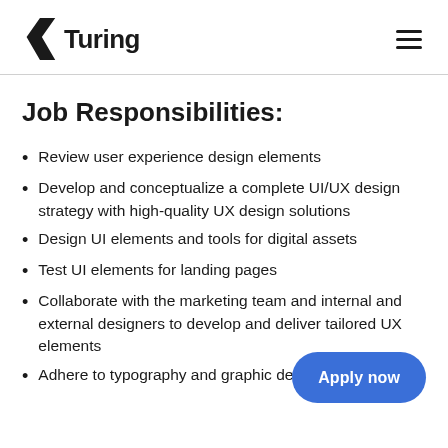Turing
Job Responsibilities:
Review user experience design elements
Develop and conceptualize a complete UI/UX design strategy with high-quality UX design solutions
Design UI elements and tools for digital assets
Test UI elements for landing pages
Collaborate with the marketing team and internal and external designers to develop and deliver tailored UX elements
Adhere to typography and graphic design standards